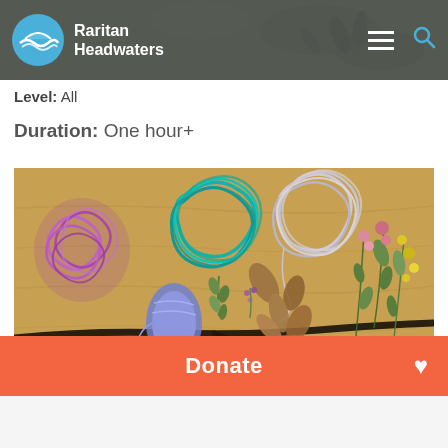[Figure (screenshot): Raritan Headwaters website navigation bar with logo (blue circle with waves), site name 'Raritan Headwaters', hamburger menu icon, and search icon on dark gray background with nature photo behind]
Level: All
Duration: One hour+
[Figure (photo): Craft supplies laid out on a wooden table: bundles of purple, teal, and white yarn/string, a blue spool of thread, natural items including leaves, small flowers (pink and yellow), and a dark stick/branch]
[Figure (screenshot): Orange donate button bar at bottom with 'Donate' text in white bold and a white heart icon on the right]